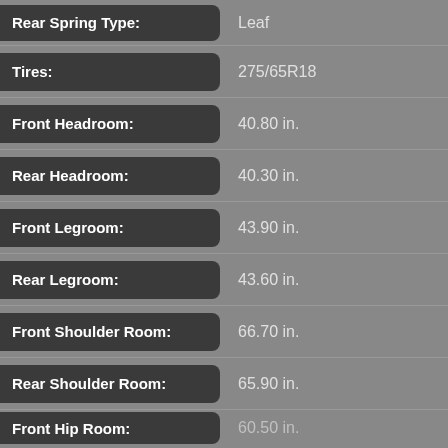| Specification | Value |
| --- | --- |
| Rear Spring Type: | Leaf |
| Tires: | 275/65R18 |
| Front Headroom: | 40.80 in. |
| Rear Headroom: | 40.30 in. |
| Front Legroom: | 43.90 in. |
| Rear Legroom: | 43.60 in. |
| Front Shoulder Room: | 66.70 in. |
| Rear Shoulder Room: | 65.90 in. |
| Front Hip Room: | 60.50 in. |